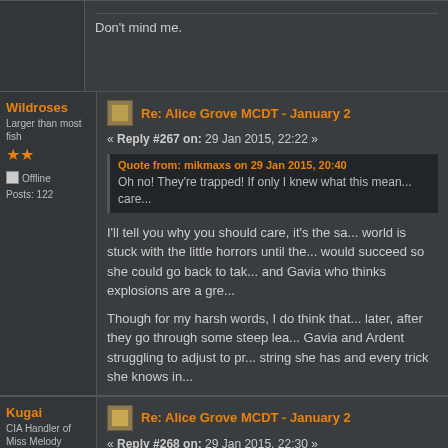Don't mind me.
Wildroses — Re: Alice Grove MCDT - January 2... « Reply #267 on: 29 Jan 2015, 22:22 »
Larger than most fish
Offline
Posts: 122
Quote from: mikmaxs on 29 Jan 2015, 20:40
Oh no! They're trapped! If only I knew what this mean... care...
I'll tell you why you should care, it's the sa... world is stuck with the little horrors until the... would succeed so she could go back to tak... and Gavia who thinks explosions are a gre...

Though for my harsh words, I do think that... later, after they go through some steep lea... Gavia and Ardent struggling to adjust to pr... string she has and every trick she knows in...
Kugai — Re: Alice Grove MCDT - January 2... « Reply #268 on: 29 Jan 2015, 22:30 »
CIA Handler of Miss Melody Powers
Awakened